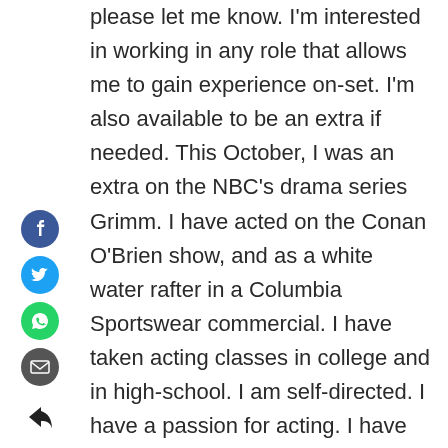[Figure (infographic): Vertical sidebar with social sharing icons: Facebook (blue circle), Twitter (light blue circle), WhatsApp (green circle), Email (dark grey circle), and a back arrow icon below.]
please let me know. I'm interested in working in any role that allows me to gain experience on-set. I'm also available to be an extra if needed. This October, I was an extra on the NBC's drama series Grimm. I have acted on the Conan O'Brien show, and as a white water rafter in a Columbia Sportswear commercial. I have taken acting classes in college and in high-school. I am self-directed. I have a passion for acting. I have always had a love for acting since I was young. I used to memorize lines from TV shows and movies and act them